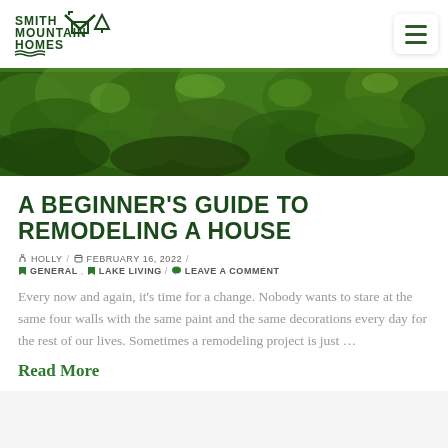Smith Mountain Homes
[Figure (photo): Green dense forest/vegetation aerial view used as hero banner image]
A BEGINNER'S GUIDE TO REMODELING A HOUSE
✏ HOLLY / 📅 FEBRUARY 16, 2022 /
🏷 GENERAL, 🏷 LAKE LIVING / 💬 LEAVE A COMMENT
Every now and again, it's time for a change. Nobody wants to stare at the same four walls with the same paint and the same decorations every day for the rest of our lives. Sometimes a remodeling project is just …
Read More